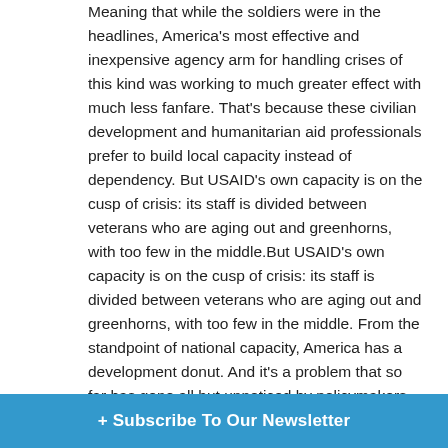Meaning that while the soldiers were in the headlines, America's most effective and inexpensive agency arm for handling crises of this kind was working to much greater effect with much less fanfare. That's because these civilian development and humanitarian aid professionals prefer to build local capacity instead of dependency. But USAID's own capacity is on the cusp of crisis: its staff is divided between veterans who are aging out and greenhorns, with too few in the middle.But USAID's own capacity is on the cusp of crisis: its staff is divided between veterans who are aging out and greenhorns, with too few in the middle. From the standpoint of national capacity, America has a development donut. And it's a problem that so far has gone all but unnoticed by policymakers or the public.
The U.S. response to Ebola is a good example of why this matters.
Six months after the response was in full sway, the forces of Operation United Assistance, according to the New York Times, wound up treating only 28 patients at two of the 11 units they [built]; that's about five [patients per unit].
+ Subscribe To Our Newsletter